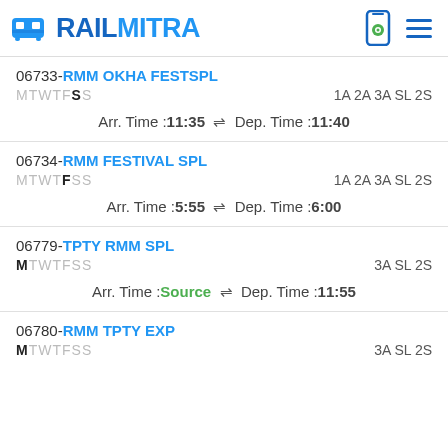RAILMITRA
06733-RMM OKHA FESTSPL
MTWTFSS  1A 2A 3A SL 2S
Arr. Time :11:35 ⇌ Dep. Time :11:40
06734-RMM FESTIVAL SPL
MTWTFSS  1A 2A 3A SL 2S
Arr. Time :5:55 ⇌ Dep. Time :6:00
06779-TPTY RMM SPL
MTWTFSS  3A SL 2S
Arr. Time :Source ⇌ Dep. Time :11:55
06780-RMM TPTY EXP
MTWTFSS  3A SL 2S